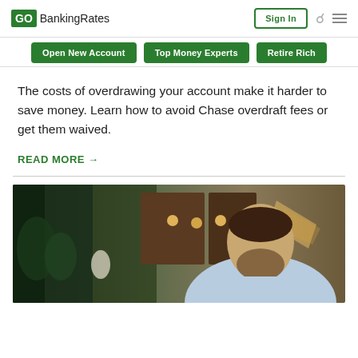GO BankingRates — Sign In
Open New Account
Top Money Experts
Retire Rich
The costs of overdrawing your account make it harder to save money. Learn how to avoid Chase overdraft fees or get them waived.
READ MORE →
[Figure (photo): Man with beard in light blue shirt looking down, seated in a restaurant or cafe setting with warm lighting and wooden decor in the background]